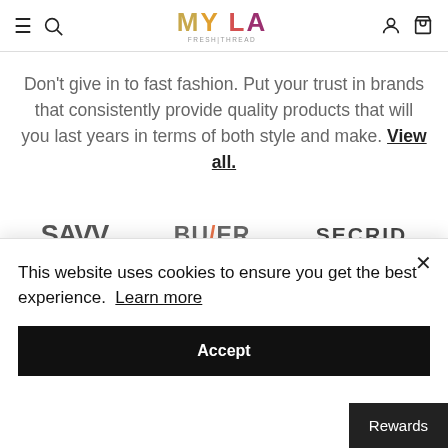MY LA FRESH THREAD — navigation header with hamburger, search, logo, user icon, cart icon
Don't give in to fast fashion. Put your trust in brands that consistently provide quality products that will you last years in terms of both style and make. View all.
[Figure (logo): Brand logos strip: SAVVY, BU/ER, SECRID]
This website uses cookies to ensure you get the best experience. Learn more
Accept
Rewards